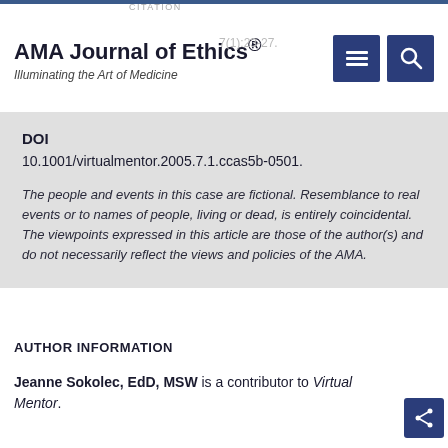AMA Journal of Ethics® Illuminating the Art of Medicine | CITATION virtualmentor.2005.7(1):23-27.
DOI
10.1001/virtualmentor.2005.7.1.ccas5b-0501.
The people and events in this case are fictional. Resemblance to real events or to names of people, living or dead, is entirely coincidental. The viewpoints expressed in this article are those of the author(s) and do not necessarily reflect the views and policies of the AMA.
AUTHOR INFORMATION
Jeanne Sokolec, EdD, MSW is a contributor to Virtual Mentor.